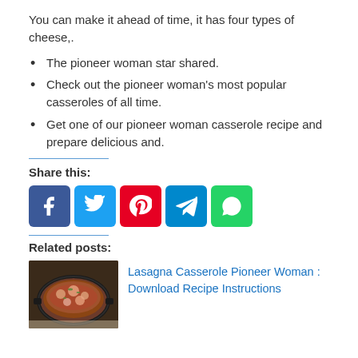You can make it ahead of time, it has four types of cheese,.
The pioneer woman star shared.
Check out the pioneer woman's most popular casseroles of all time.
Get one of our pioneer woman casserole recipe and prepare delicious and.
Share this:
[Figure (infographic): Social share buttons: Facebook (blue), Twitter (light blue), Pinterest (red), Telegram (blue), WhatsApp (green)]
Related posts:
[Figure (photo): Photo of a lasagna casserole dish (dark skillet with food)]
Lasagna Casserole Pioneer Woman : Download Recipe Instructions